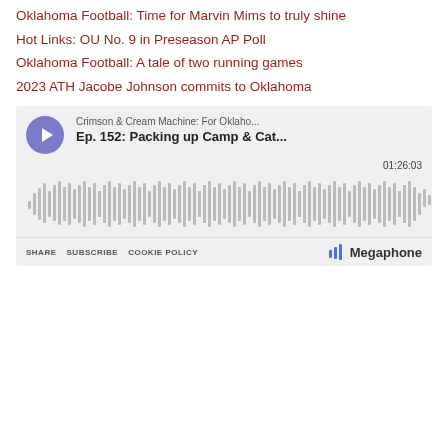Oklahoma Football: Time for Marvin Mims to truly shine
Hot Links: OU No. 9 in Preseason AP Poll
Oklahoma Football: A tale of two running games
2023 ATH Jacobe Johnson commits to Oklahoma
[Figure (screenshot): Megaphone podcast player widget showing 'Crimson & Cream Machine: For Oklaho...' podcast, Episode 152: Packing up Camp & Cat..., duration 01:26:03, with waveform visualization and controls for SHARE, SUBSCRIBE, COOKIE POLICY]